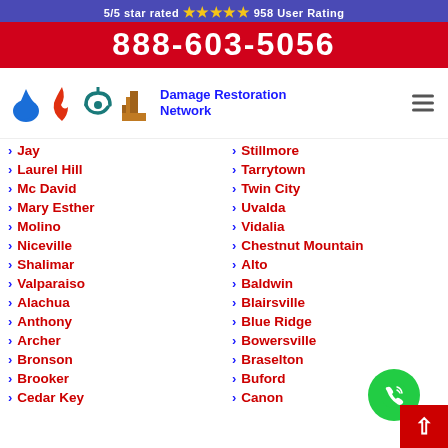5/5 star rated ⭐⭐⭐⭐⭐ 958 User Rating
888-603-5056
[Figure (logo): Damage Restoration Network logo with water drop, fire, storm, and building icons]
Jay
Laurel Hill
Mc David
Mary Esther
Molino
Niceville
Shalimar
Valparaiso
Alachua
Anthony
Archer
Bronson
Brooker
Cedar Key
Stillmore
Tarrytown
Twin City
Uvalda
Vidalia
Chestnut Mountain
Alto
Baldwin
Blairsville
Blue Ridge
Bowersville
Braselton
Buford
Canon